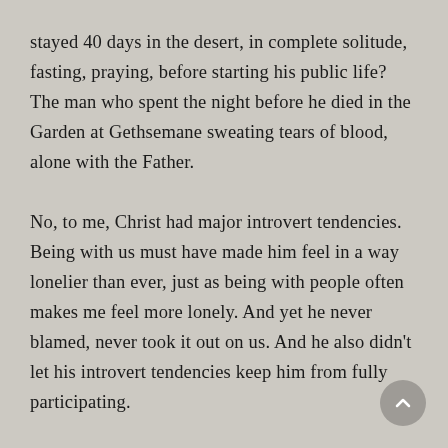stayed 40 days in the desert, in complete solitude, fasting, praying, before starting his public life? The man who spent the night before he died in the Garden at Gethsemane sweating tears of blood, alone with the Father.

No, to me, Christ had major introvert tendencies. Being with us must have made him feel in a way lonelier than ever, just as being with people often makes me feel more lonely. And yet he never blamed, never took it out on us. And he also didn't let his introvert tendencies keep him from fully participating.